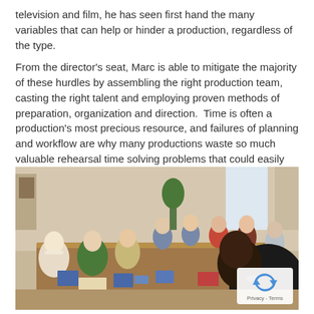television and film, he has seen first hand the many variables that can help or hinder a production, regardless of the type.
From the director's seat, Marc is able to mitigate the majority of these hurdles by assembling the right production team, casting the right talent and employing proven methods of preparation, organization and direction.  Time is often a production's most precious resource, and failures of planning and workflow are why many productions waste so much valuable rehearsal time solving problems that could easily have been foreseen.
[Figure (photo): A group of people seated around a large table in a living room setting, reading scripts or booklets. A Black man in a black outfit sits in the foreground right, facing the camera. Others are reading documents. A reCAPTCHA Privacy - Terms badge is visible in the bottom right corner.]